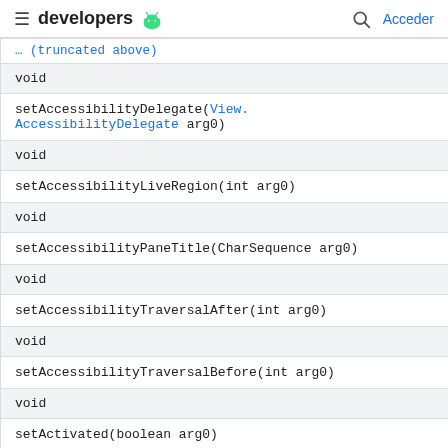developers [android icon] | [search] Acceder
| [truncated method link] |
| void |
| setAccessibilityDelegate(View.AccessibilityDelegate arg0) |
| void |
| setAccessibilityLiveRegion(int arg0) |
| void |
| setAccessibilityPaneTitle(CharSequence arg0) |
| void |
| setAccessibilityTraversalAfter(int arg0) |
| void |
| setAccessibilityTraversalBefore(int arg0) |
| void |
| setActivated(boolean arg0) |